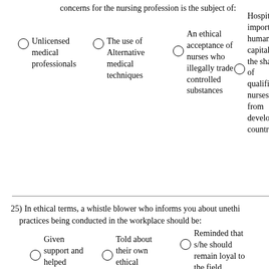concerns for the nursing profession is the subject of:
Unlicensed medical professionals
The use of Alternative medical techniques
An ethical acceptance of nurses who illegally trade controlled substances
Hospitals importing human capital in the shape of qualified nurses from developing countries
25) In ethical terms, a whistle blower who informs you about unethical practices being conducted in the workplace should be:
Given support and helped
Told about their own ethical shortcomings
Reminded that s/he should remain loyal to the field